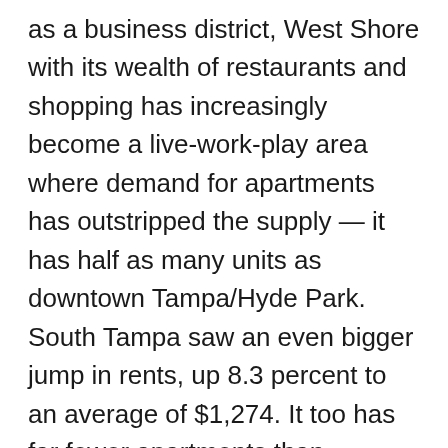as a business district, West Shore with its wealth of restaurants and shopping has increasingly become a live-work-play area where demand for apartments has outstripped the supply — it has half as many units as downtown Tampa/Hyde Park. South Tampa saw an even bigger jump in rents, up 8.3 percent to an average of $1,274. It too has far fewer apartments than downtown Tampa although 351 units have recently been completed and 1,284 are under construction, primarily